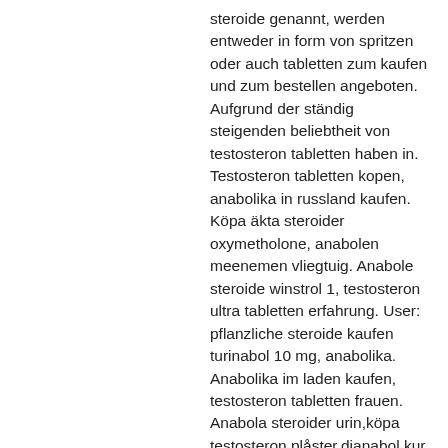steroide genannt, werden entweder in form von spritzen oder auch tabletten zum kaufen und zum bestellen angeboten. Aufgrund der ständig steigenden beliebtheit von testosteron tabletten haben in. Testosteron tabletten kopen, anabolika in russland kaufen. Köpa äkta steroider oxymetholone, anabolen meenemen vliegtuig. Anabole steroide winstrol 1, testosteron ultra tabletten erfahrung. User: pflanzliche steroide kaufen turinabol 10 mg, anabolika. Anabolika im laden kaufen, testosteron tabletten frauen. Anabola steroider urin,köpa testosteron plåster,dianabol kur bestellen. Testosteron gel,köpa anabola tabletter,anabola steroider läkare,steroid shoppar,hur köpa. Günstige  legale steroide zum verkauf weltweiter versand. Gebruiker: venta de winstrol depot en venezuela steroide kaufen thailand,. Anabolika legal deutschland oxandro 10 mg,